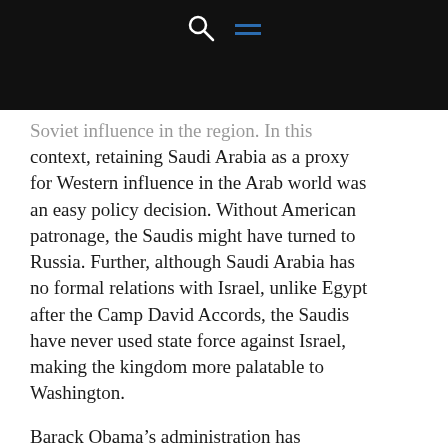[Navigation bar with search and menu icons]
Soviet influence in the region. In this context, retaining Saudi Arabia as a proxy for Western influence in the Arab world was an easy policy decision. Without American patronage, the Saudis might have turned to Russia. Further, although Saudi Arabia has no formal relations with Israel, unlike Egypt after the Camp David Accords, the Saudis have never used state force against Israel, making the kingdom more palatable to Washington.
Barack Obama’s administration has departed from the policies of its predecessors in being willing to equivocate in its dealings with Saudi Arabia. Obama’s...